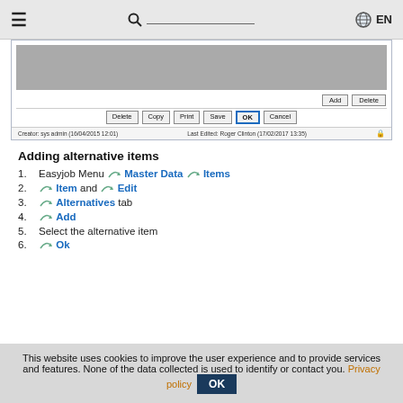≡  🔍 _______________  🌐 EN
[Figure (screenshot): Screenshot of a software dialog showing a gray content area, Add and Delete buttons, Delete/Copy/Print/Save/OK/Cancel buttons row, and a status bar showing Creator: sys admin (16/04/2015 12:01) and Last Edited: Roger Clinton (17/02/2017 13:35).]
Adding alternative items
1. Easyjob Menu → Master Data → Items
2. → Item and → Edit
3. → Alternatives tab
4. → Add
5. Select the alternative item
6. → Ok
This website uses cookies to improve the user experience and to provide services and features. None of the data collected is used to identify or contact you. Privacy policy OK